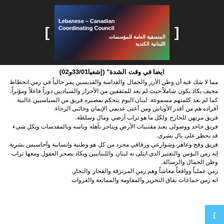[Figure (logo): Lebanese Canadian Coordinating Council logo with Arabic text and flag imagery on dark background]
ايضا في وقت الشدة" (إشعيا33/01و02)
مما لا شك فيه أن وطن الأرز والجمال والقداسة والقديسين يمر حالياً في زمن انحطاط مخيف يكاد يكون شاملاً حيث لم يعد للمثقفين من الأحرار والسياديين دوراً فاعلاً ومؤثراً، كما لم تعد كلمتهم مسموعة. لبنان اليوم يتحكم بمصيره فريق من السياسيين غالبية أفراده هم من أقذر الأوباش ومن أعتى عديمي الإيمان وخائبي الرجاء. فريق مرتهن للخارج ولكل ما هو تراب أرضي ومال وسلطة. فريق جاحد ووصولي يعبد مقتنيات الأرض ويتاجر بأهله وناسه وبالمقدسات وبكل شيء قد يخطر على بال بشري. فريق وقح وعاهر وشوارعي وزقاقي مجرد من كل هو وطنية وإنسانية وأحاسيس بشرية. إنه زمن البؤس والتعتير الذي ابتلى به لبنان واللبنانيين وبكاد يصحر العقول ومعها تراب وطن الجمال والرسالة. زمن عملياً وواقعاً معاشاً وهم زمن المرتزقة والفجار والتجار. انه زمن جماعات نفاق التحرير والمقاومة والممانعة والغزوات